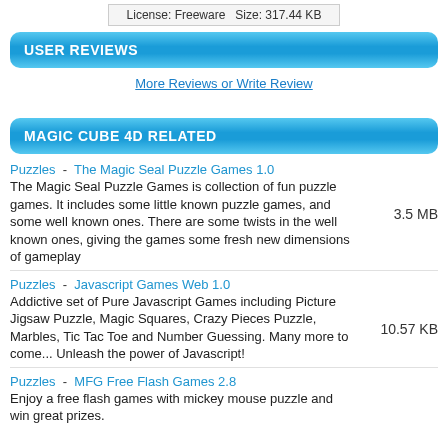License: Freeware  Size: 317.44 KB
USER REVIEWS
More Reviews or Write Review
MAGIC CUBE 4D RELATED
Puzzles  -  The Magic Seal Puzzle Games 1.0
The Magic Seal Puzzle Games is collection of fun puzzle games. It includes some little known puzzle games, and some well known ones. There are some twists in the well known ones, giving the games some fresh new dimensions of gameplay
3.5 MB
Puzzles  -  Javascript Games Web 1.0
Addictive set of Pure Javascript Games including Picture Jigsaw Puzzle, Magic Squares, Crazy Pieces Puzzle, Marbles, Tic Tac Toe and Number Guessing. Many more to come... Unleash the power of Javascript!
10.57 KB
Puzzles  -  MFG Free Flash Games 2.8
Enjoy a free flash games with mickey mouse puzzle and win great prizes.